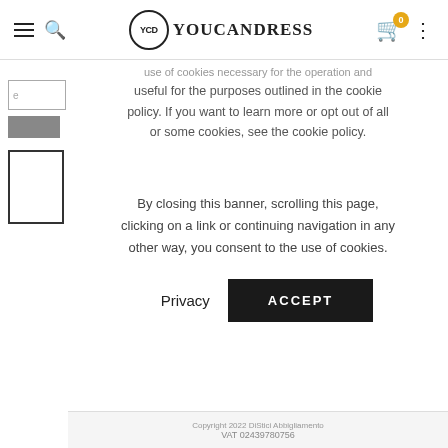YouCanDress — navigation bar with hamburger, search, logo, cart (0), and menu dots
use of cookies necessary for the operation and useful for the purposes outlined in the cookie policy. If you want to learn more or opt out of all or some cookies, see the cookie policy.
By closing this banner, scrolling this page, clicking on a link or continuing navigation in any other way, you consent to the use of cookies.
Privacy    ACCEPT
Copyright 2022 DiStici Abbigliamento
VAT 02439780756